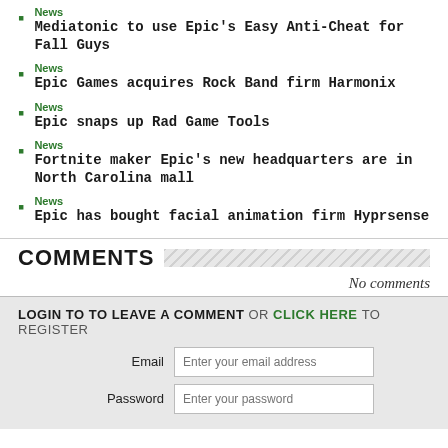News
Mediatonic to use Epic's Easy Anti-Cheat for Fall Guys
News
Epic Games acquires Rock Band firm Harmonix
News
Epic snaps up Rad Game Tools
News
Fortnite maker Epic's new headquarters are in North Carolina mall
News
Epic has bought facial animation firm Hyprsense
COMMENTS
No comments
LOGIN TO TO LEAVE A COMMENT OR CLICK HERE TO REGISTER
Email  Enter your email address
Password  Enter your password